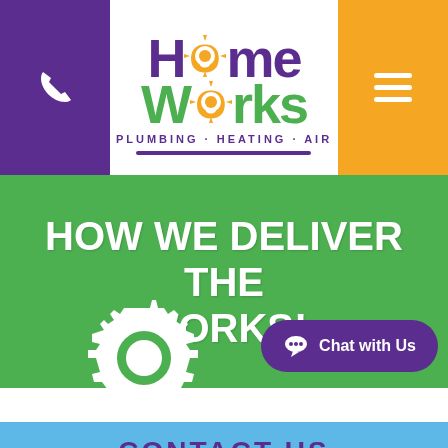[Figure (logo): HomeWorks Plumbing Heating Air logo with gear icons replacing the O letters, purple and green text]
HOW WE DELIVER THE WORKS!
[Figure (illustration): White gear/sun icon at bottom of green hero section]
Chat with Us
CONTACT US